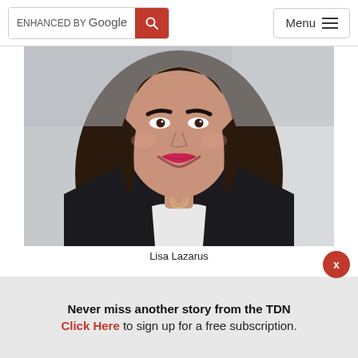ENHANCED BY Google  [search]  Menu
[Figure (photo): Professional headshot of Lisa Lazarus, a woman with long dark brown hair wearing a black blazer over a white top, with a silver circular necklace, smiling at the camera against a light background.]
Lisa Lazarus
By Dan Ross
Never miss another story from the TDN
Click Here to sign up for a free subscription.